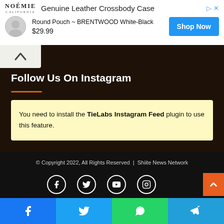[Figure (screenshot): Advertisement banner for NOÉMIE California Genuine Leather Crossbody Case featuring Round Pouch ~ BRENTWOOD White-Black at $29.99 with Shop Now button]
Follow Us On Instagram
You need to install the TieLabs Instagram Feed plugin to use this feature.
© Copyright 2022, All Rights Reserved  |  Shiite News Network
[Figure (infographic): Social media icons: Facebook, Twitter, YouTube, Instagram in white circles on black background, plus scroll-to-top orange button]
[Figure (infographic): Social share bar at bottom: Facebook (blue), Twitter (cyan), WhatsApp (green), Telegram (blue) buttons]